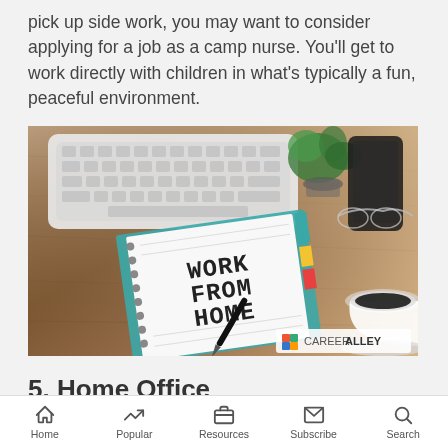pick up side work, you may want to consider applying for a job as a camp nurse. You'll get to work directly with children in what's typically a fun, peaceful environment.
[Figure (photo): A notebook on a wooden desk with 'WORK FROM HOME' written on it, alongside a keyboard, pen, glasses, plant, smartphone, and a cup of coffee. CareerAlley watermark in bottom right.]
5. Home Office
Home  Popular  Resources  Subscribe  Search